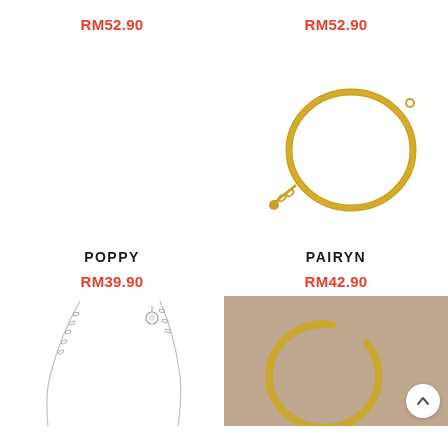RM52.90
RM52.90
[Figure (photo): Gold herringbone bracelet with chain extender on white background]
POPPY
RM39.90
PAIRYN
RM42.90
[Figure (photo): Silver chain necklace with small crystal pendant on white background]
[Figure (photo): Gold hoop earring on beige fabric background]